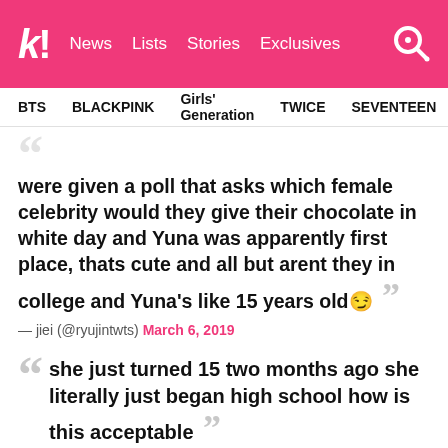k! News Lists Stories Exclusives
BTS BLACKPINK Girls' Generation TWICE SEVENTEEN
were given a poll that asks which female celebrity would they give their chocolate in white day and Yuna was apparently first place, thats cute and all but arent they in college and Yuna's like 15 years old😏
— jiei (@ryujintwts) March 6, 2019
she just turned 15 two months ago she literally just began high school how is this acceptable